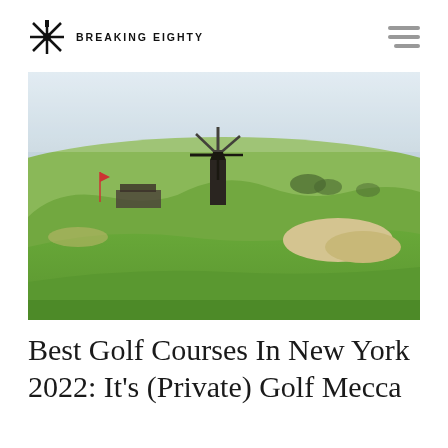BREAKING EIGHTY
[Figure (photo): Golf course landscape with a windmill visible on a hill in the background, green fairway and sand bunkers in the foreground, hazy sky]
Best Golf Courses In New York 2022: It’s (Private) Golf Mecca